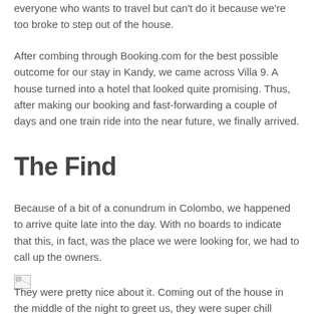everyone who wants to travel but can't do it because we're too broke to step out of the house.
After combing through Booking.com for the best possible outcome for our stay in Kandy, we came across Villa 9. A house turned into a hotel that looked quite promising. Thus, after making our booking and fast-forwarding a couple of days and one train ride into the near future, we finally arrived.
The Find
Because of a bit of a conundrum in Colombo, we happened to arrive quite late into the day. With no boards to indicate that this, in fact, was the place we were looking for, we had to call up the owners.
[Figure (photo): Broken image placeholder icon]
They were pretty nice about it. Coming out of the house in the middle of the night to greet us, they were super chill